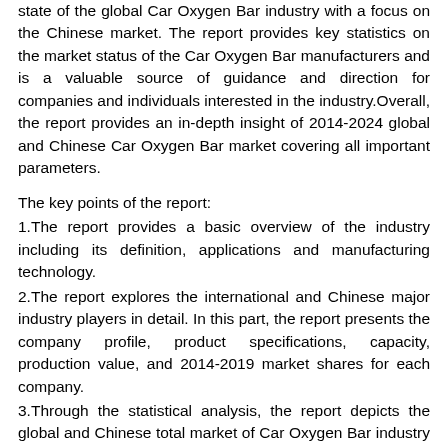state of the global Car Oxygen Bar industry with a focus on the Chinese market. The report provides key statistics on the market status of the Car Oxygen Bar manufacturers and is a valuable source of guidance and direction for companies and individuals interested in the industry.Overall, the report provides an in-depth insight of 2014-2024 global and Chinese Car Oxygen Bar market covering all important parameters.
The key points of the report:
1.The report provides a basic overview of the industry including its definition, applications and manufacturing technology.
2.The report explores the international and Chinese major industry players in detail. In this part, the report presents the company profile, product specifications, capacity, production value, and 2014-2019 market shares for each company.
3.Through the statistical analysis, the report depicts the global and Chinese total market of Car Oxygen Bar industry including capacity, production, production value, cost/profit, supply/demand and Chinese import/export.
4.The total market is further divided by company, by country, and by application/type for the competitive landscape